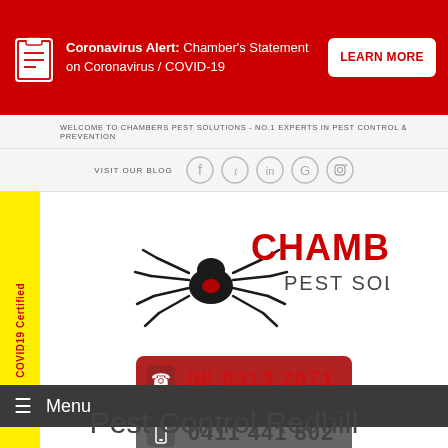Coronavirus Alert: Chamber's Statement on Coronavirus / COVID-19
LEARN MORE
WELCOME TO CHAMBERS PEST SOLUTIONS - NO.1 EXPERTS IN PEST CONTROL & PREVENTION
VISIT OUR BLOG
COVID19 Certified
[Figure (logo): Chambers Pest Solutions logo with spider graphic, red and dark text]
08 9313 2871
0411 441 802
Menu
Pest Control Redhill